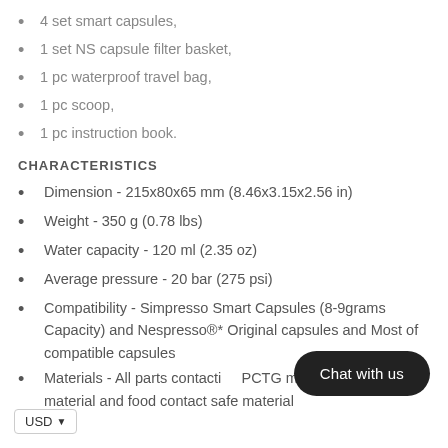4 set smart capsules,
1 set NS capsule filter basket,
1 pc waterproof travel bag,
1 pc scoop,
1 pc instruction book.
CHARACTERISTICS
Dimension - 215x80x65 mm (8.46x3.15x2.56 in)
Weight - 350 g (0.78 lbs)
Water capacity - 120 ml (2.35 oz)
Average pressure - 20 bar (275 psi)
Compatibility - Simpresso Smart Capsules (8-9grams Capacity) and Nespresso®* Original capsules and Most of compatible capsules
Materials - All parts contacting PCTG materials. It is a 100 material and food contact safe material